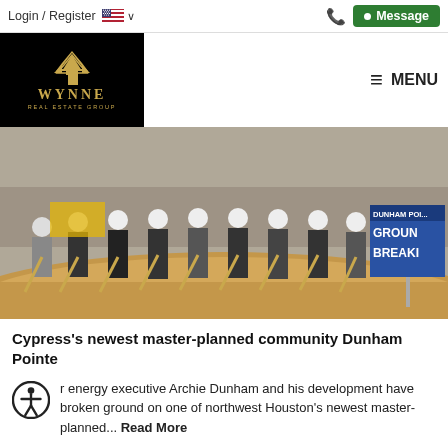Login / Register  🇺🇸 ∨    📞  ● Message
[Figure (logo): Wynne Real Estate Group logo — gold crown/house icon on black background with gold text WYNNE REAL ESTATE GROUP]
≡ MENU
[Figure (photo): Group of men wearing white hard hats holding golden shovels at a groundbreaking ceremony. A blue sign reads DUNHAM POINTE GROUND BREAKING in the background. Sandy mound of dirt in foreground.]
Cypress's newest master-planned community Dunham Pointe
r energy executive Archie Dunham and his development have broken ground on one of northwest Houston's newest master-planned... Read More